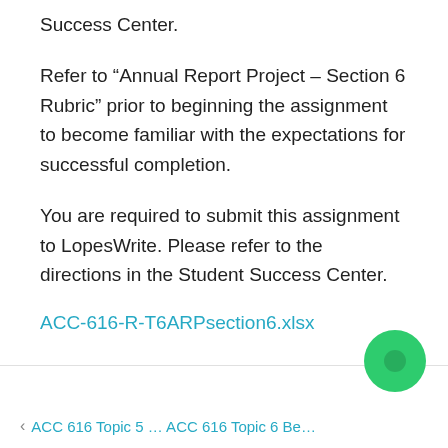Success Center.
Refer to “Annual Report Project – Section 6 Rubric” prior to beginning the assignment to become familiar with the expectations for successful completion.
You are required to submit this assignment to LopesWrite. Please refer to the directions in the Student Success Center.
ACC-616-R-T6ARPsection6.xlsx
‹  ACC 616 Topic 5 … ACC 616 Topic 6 Be…